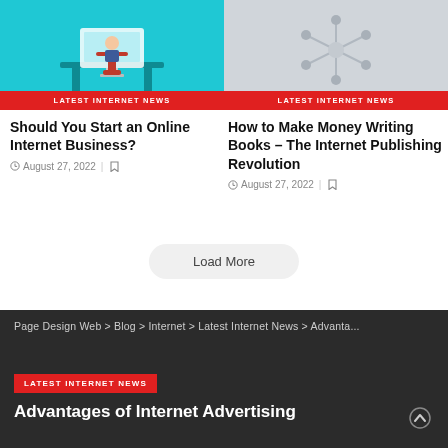[Figure (illustration): Article thumbnail with teal/cyan background showing a person at a desk with computer, labeled LATEST INTERNET NEWS]
Should You Start an Online Internet Business?
August 27, 2022
[Figure (illustration): Article thumbnail with grey/white background showing abstract design, labeled LATEST INTERNET NEWS]
How to Make Money Writing Books – The Internet Publishing Revolution
August 27, 2022
Load More
Page Design Web > Blog > Internet > Latest Internet News > Advanta...
LATEST INTERNET NEWS
Advantages of Internet Advertising